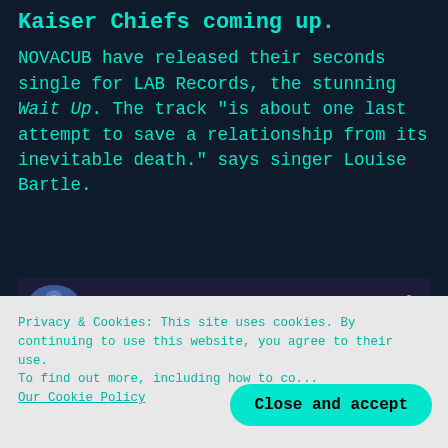Kaiser Chiefs coming up.
NOVACUB have released their seconds single for LAB Records, the stunning Wait Up. The track "is about one last attempt to save a relationship from its inevitable death." says singer Louise Bartle.
[Figure (screenshot): Embedded YouTube video player showing NOVACUB - Wait Up (Audio) with thumbnail of band members, NOVACUB CUB watermark, Wait Up text, and red play button]
Privacy & Cookies: This site uses cookies. By continuing to use this website, you agree to their use. To find out more, including how to co... Our Cookie Policy
Close and accept